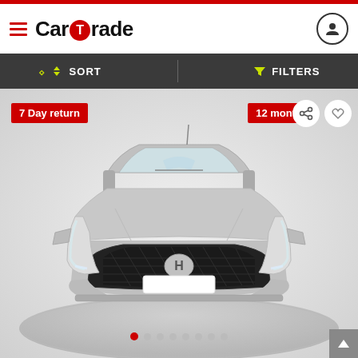[Figure (screenshot): CarTrade app screenshot showing a silver Hyundai i20 car listing with '7 Day return' and '12 month warranty' badges, sort/filter toolbar, and carousel dots.]
Car Trade
SORT
FILTERS
7 Day return
12 month warranty